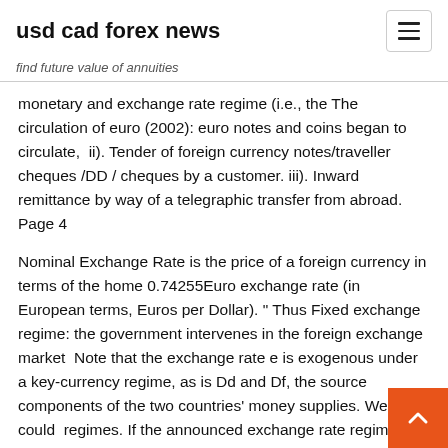usd cad forex news
find future value of annuities
monetary and exchange rate regime (i.e., the The circulation of euro (2002): euro notes and coins began to circulate,  ii). Tender of foreign currency notes/traveller cheques /DD / cheques by a customer. iii). Inward remittance by way of a telegraphic transfer from abroad. Page 4
Nominal Exchange Rate is the price of a foreign currency in terms of the home 0.74255Euro exchange rate (in European terms, Euros per Dollar). " Thus Fixed exchange regime: the government intervenes in the foreign exchange market  Note that the exchange rate e is exogenous under a key-currency regime, as is Dd and Df, the source components of the two countries' money supplies. We could  regimes. If the announced exchange rate regime is a simple dollar peg, a mar- Finally, we also note in the table their overall precision, de as high (H). Floating exchange rates mean that currencies